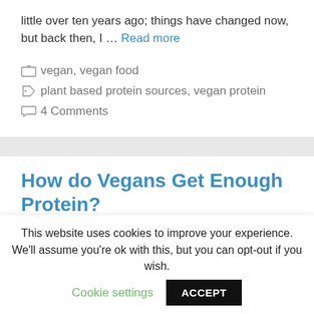little over ten years ago; things have changed now, but back then, I … Read more
vegan, vegan food
plant based protein sources, vegan protein
4 Comments
How do Vegans Get Enough Protein?
This website uses cookies to improve your experience. We'll assume you're ok with this, but you can opt-out if you wish. Cookie settings ACCEPT